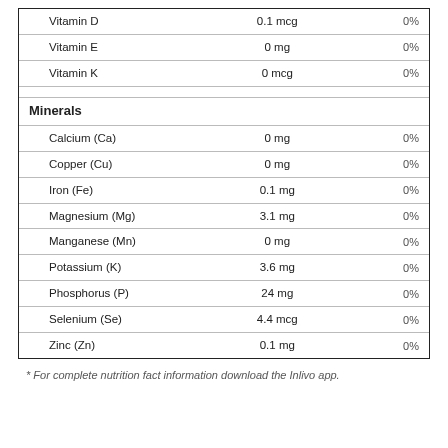| Nutrient | Amount | %DV |
| --- | --- | --- |
| Vitamin D | 0.1 mcg | 0% |
| Vitamin E | 0 mg | 0% |
| Vitamin K | 0 mcg | 0% |
| Minerals |  |  |
| Calcium (Ca) | 0 mg | 0% |
| Copper (Cu) | 0 mg | 0% |
| Iron (Fe) | 0.1 mg | 0% |
| Magnesium (Mg) | 3.1 mg | 0% |
| Manganese (Mn) | 0 mg | 0% |
| Potassium (K) | 3.6 mg | 0% |
| Phosphorus (P) | 24 mg | 0% |
| Selenium (Se) | 4.4 mcg | 0% |
| Zinc (Zn) | 0.1 mg | 0% |
* For complete nutrition fact information download the Inlivo app.